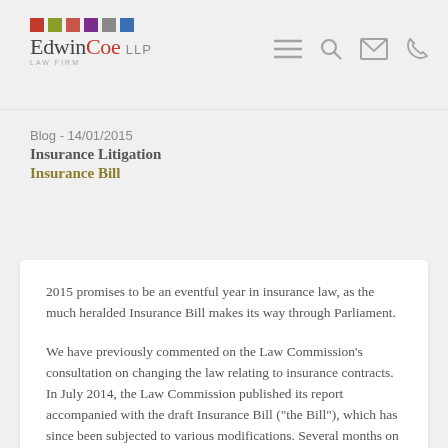[Figure (logo): Edwin Coe LLP Law Firm logo with colored squares and navigation icons]
Blog - 14/01/2015
Insurance Litigation
Insurance Bill
2015 promises to be an eventful year in insurance law, as the much heralded Insurance Bill makes its way through Parliament.
We have previously commented on the Law Commission’s consultation on changing the law relating to insurance contracts. In July 2014, the Law Commission published its report accompanied with the draft Insurance Bill (“the Bill”), which has since been subjected to various modifications. Several months on from the